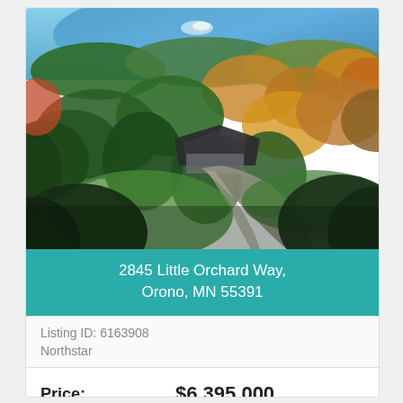[Figure (photo): Aerial drone photograph of a large residential estate with a lake in the background, surrounded by autumn-colored trees (orange, yellow, red, green). A large house with dark roof is visible among the trees with a winding driveway.]
2845 Little Orchard Way, Orono, MN 55391
Listing ID: 6163908
Northstar
Price: $6,395,000